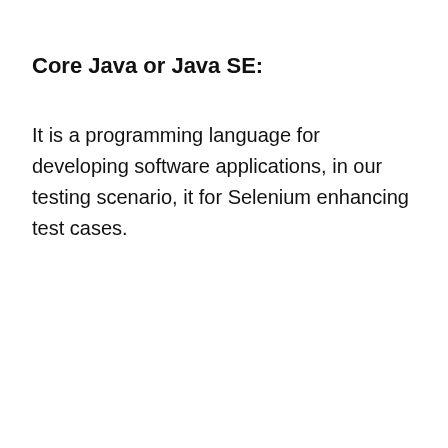Core Java or Java SE:
It is a programming language for developing software applications, in our testing scenario, it for Selenium enhancing test cases.